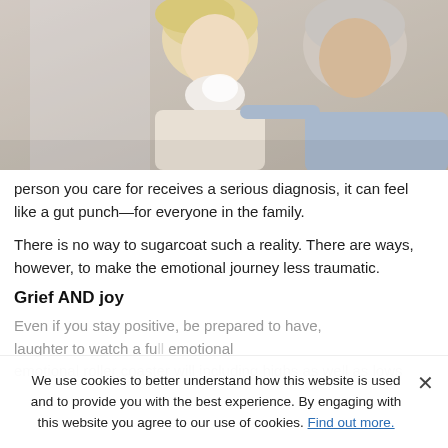[Figure (photo): Elderly man comforting a woman who is crying while holding a tissue to her face]
person you care for receives a serious diagnosis, it can feel like a gut punch—for everyone in the family.
There is no way to sugarcoat such a reality. There are ways, however, to make the emotional journey less traumatic.
Grief AND joy
Even if you stay positive, be prepared to have, laughter to watch a full emotional roller coaster will including highs as well as lows
We use cookies to better understand how this website is used and to provide you with the best experience. By engaging with this website you agree to our use of cookies. Find out more.